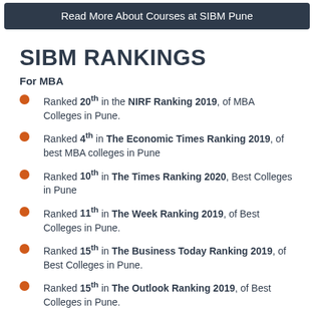Read More About Courses at SIBM Pune
SIBM RANKINGS
For MBA
Ranked 20th in the NIRF Ranking 2019, of MBA Colleges in Pune.
Ranked 4th in The Economic Times Ranking 2019, of best MBA colleges in Pune
Ranked 10th in The Times Ranking 2020, Best Colleges in Pune
Ranked 11th in The Week Ranking 2019, of Best Colleges in Pune.
Ranked 15th in The Business Today Ranking 2019, of Best Colleges in Pune.
Ranked 15th in The Outlook Ranking 2019, of Best Colleges in Pune.